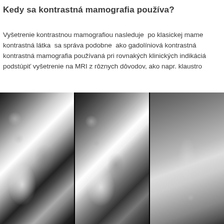Kedy sa kontrastná mamografia používa?
Vyšetrenie kontrastnou mamografiou nasleduje  po klasickej mame kontrastná látka  sa správa podobne  ako gadolíniová kontrastná kontrastná mamografia používaná pri rovnakých klinických indikáciá podstúpiť vyšetrenie na MRI z rôznych dôvodov, ako napr. klaustro
[Figure (photo): Three side-by-side mammography images shown in grayscale/black and white. The left and middle images show dense breast tissue with complex patterns typical of contrast-enhanced mammography. The right image shows a lower-contrast, lighter mammogram with less dense tissue appearance.]